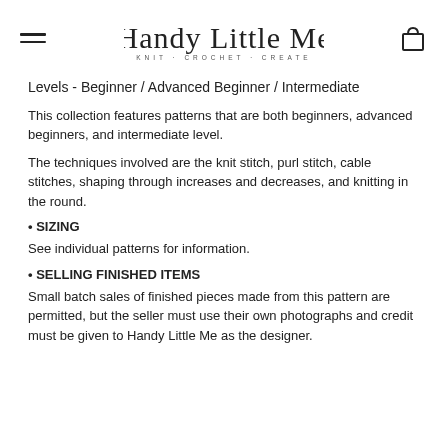Handy Little Me — KNIT · CROCHET · CREATE
Levels - Beginner / Advanced Beginner / Intermediate
This collection features patterns that are both beginners, advanced beginners, and intermediate level.
The techniques involved are the knit stitch, purl stitch, cable stitches, shaping through increases and decreases, and knitting in the round.
• SIZING
See individual patterns for information.
• SELLING FINISHED ITEMS
Small batch sales of finished pieces made from this pattern are permitted, but the seller must use their own photographs and credit must be given to Handy Little Me as the designer.